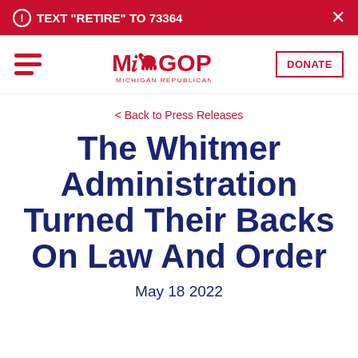TEXT "RETIRE" TO 73364
[Figure (logo): Michigan Republican Party (MIGOP) logo with elephant graphic and text MICHIGAN REPUBLICAN PARTY]
< Back to Press Releases
The Whitmer Administration Turned Their Backs On Law And Order
May 18 2022